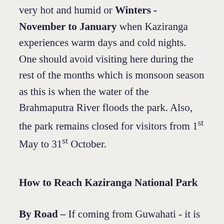very hot and humid or Winters - November to January when Kaziranga experiences warm days and cold nights. One should avoid visiting here during the rest of the months which is monsoon season as this is when the water of the Brahmaputra River floods the park. Also, the park remains closed for visitors from 1st May to 31st October.
How to Reach Kaziranga National Park
By Road – If coming from Guwahati - it is at a distance of 5 hours. If coming after your trip to Meghalaya it is at a distance of 6-7 h...